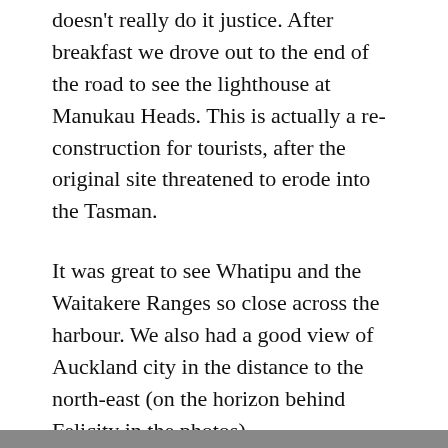doesn't really do it justice. After breakfast we drove out to the end of the road to see the lighthouse at Manukau Heads. This is actually a re-construction for tourists, after the original site threatened to erode into the Tasman.
It was great to see Whatipu and the Waitakere Ranges so close across the harbour. We also had a good view of Auckland city in the distance to the north-east (on the horizon behind Felicity in the photos).
On the way home we made a detour to Glenbrook Beach, just past the steel mill. The tide was just high enough for us to enjoy a swim before lunch. This beach is at the entrance to the Taihiki River, which is now added to our list of places we want to kayak in the future.